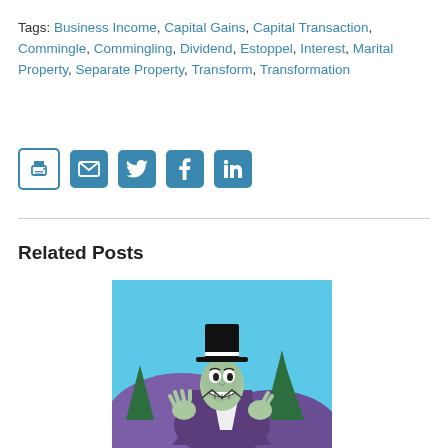Tags: Business Income, Capital Gains, Capital Transaction, Commingle, Commingling, Dividend, Estoppel, Interest, Marital Property, Separate Property, Transform, Transformation
[Figure (other): Social sharing icons: print (printer icon), email (envelope icon), Twitter bird icon, Facebook f icon, LinkedIn in icon — all in teal/steel blue color]
Related Posts
[Figure (illustration): Cartoon villain character wearing a black top hat and purple suit, with a sinister grin and clawed hands, set against a blue and purple background with pine trees]